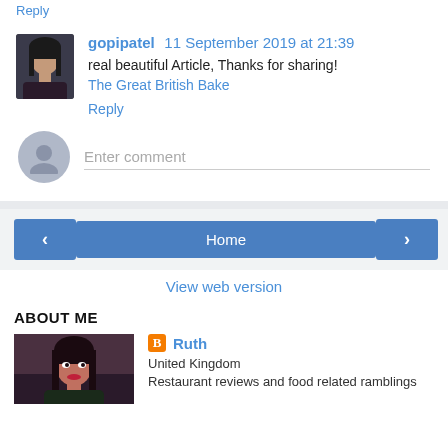Reply
gopipatel  11 September 2019 at 21:39
real beautiful Article, Thanks for sharing!
The Great British Bake
Reply
Enter comment
Home
View web version
ABOUT ME
Ruth
United Kingdom
Restaurant reviews and food related ramblings